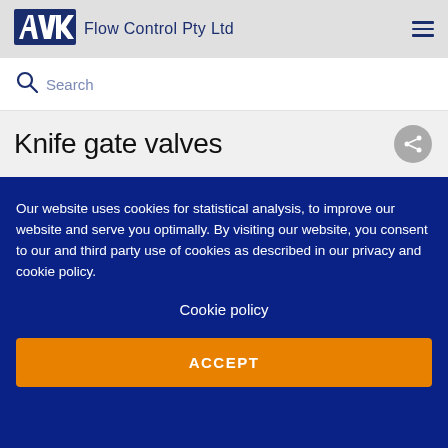AVK Flow Control Pty Ltd
Search
Knife gate valves
Our website uses cookies for statistical analysis, to improve our website and serve you optimally. By visiting our website, you consent to our and third party use of cookies as described in our privacy and cookie policy.
Cookie policy
ACCEPT